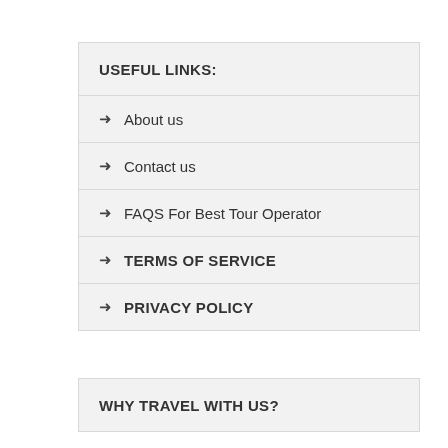USEFUL LINKS:
About us
Contact us
FAQS For Best Tour Operator
TERMS OF SERVICE
PRIVACY POLICY
WHY TRAVEL WITH US?